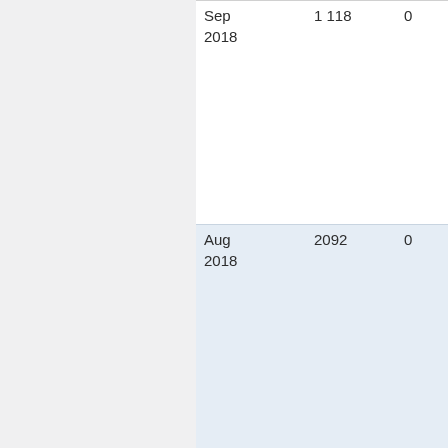| Date | Value1 | Value2 |
| --- | --- | --- |
| Sep 2018 | 1 118 | 0 |
| Aug 2018 | 2092 | 0 |